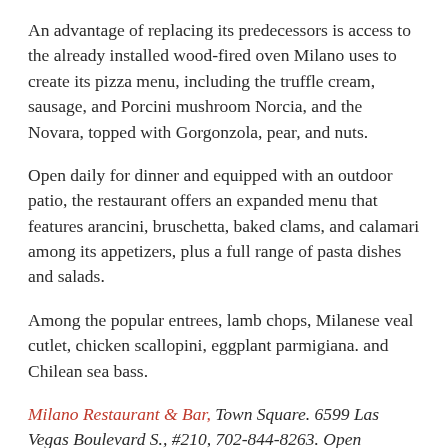An advantage of replacing its predecessors is access to the already installed wood-fired oven Milano uses to create its pizza menu, including the truffle cream, sausage, and Porcini mushroom Norcia, and the Novara, topped with Gorgonzola, pear, and nuts.
Open daily for dinner and equipped with an outdoor patio, the restaurant offers an expanded menu that features arancini, bruschetta, baked clams, and calamari among its appetizers, plus a full range of pasta dishes and salads.
Among the popular entrees, lamb chops, Milanese veal cutlet, chicken scallopini, eggplant parmigiana. and Chilean sea bass.
Milano Restaurant & Bar, Town Square. 6599 Las Vegas Boulevard S., #210, 702-844-8263. Open Monday to